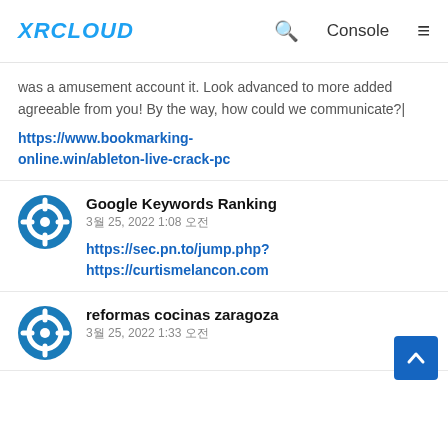XRCLOUD | Console
was a amusement account it. Look advanced to more added agreeable from you! By the way, how could we communicate?|
https://www.bookmarking-online.win/ableton-live-crack-pc
Google Keywords Ranking
3월 25, 2022 1:08 오전
https://sec.pn.to/jump.php?
https://curtismelancon.com
reformas cocinas zaragoza
3월 25, 2022 1:33 오전